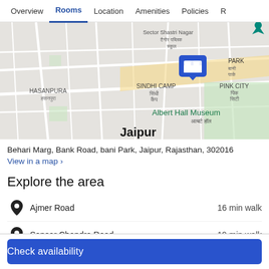Overview | Rooms | Location | Amenities | Policies | R
[Figure (map): Google Maps screenshot showing Jaipur area with hotel pin marker near Bani Park, showing areas: Hasanpura, Sindhi Camp, Pink City, Albert Hall Museum]
Behari Marg, Bank Road, bani Park, Jaipur, Rajasthan, 302016
View in a map >
Explore the area
Ajmer Road    16 min walk
Sansar Chandra Road    19 min walk
M.I. Road    20 min walk
Check availability